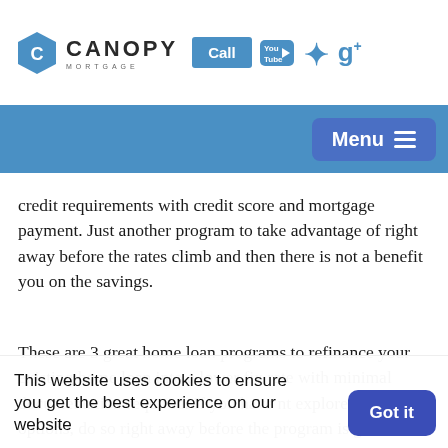[Figure (logo): Canopy Mortgage logo with blue hexagon icon, company name, and social media icons including YouTube, Yelp, and Google+, plus a Call button]
[Figure (screenshot): Blue navigation bar with Menu button (hamburger icon) on right side]
credit requirements with credit score and mortgage payment. Just another program to take advantage of right away before the rates climb and then there is not a benefit you on the savings.
These are 3 great home loan programs to refinance your existing home loan into a lower fix rate with minimal documentation required. If you have nt explores these options, do so right away before the program is gone, programs requires additional items to qualify, rates move
Let's get started on your California home loan programs to reduce your over all mortgage paym welcome the opportunity to explore one of these home
This website uses cookies to ensure you get the best experience on our website